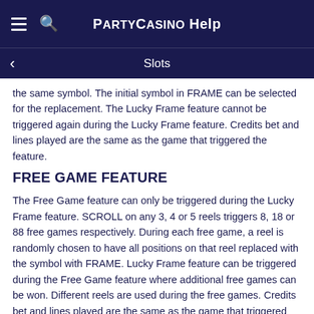PARTYCASINO Help
Slots
the same symbol. The initial symbol in FRAME can be selected for the replacement. The Lucky Frame feature cannot be triggered again during the Lucky Frame feature. Credits bet and lines played are the same as the game that triggered the feature.
FREE GAME FEATURE
The Free Game feature can only be triggered during the Lucky Frame feature. SCROLL on any 3, 4 or 5 reels triggers 8, 18 or 88 free games respectively. During each free game, a reel is randomly chosen to have all positions on that reel replaced with the symbol with FRAME. Lucky Frame feature can be triggered during the Free Game feature where additional free games can be won. Different reels are used during the free games. Credits bet and lines played are the same as the game that triggered the feature.
Last modification date: 5/17/2022